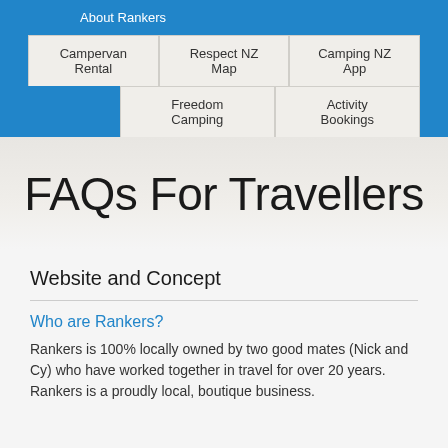About Rankers
Campervan Rental | Respect NZ Map | Camping NZ App
Freedom Camping | Activity Bookings
FAQs For Travellers
Website and Concept
Who are Rankers?
Rankers is 100% locally owned by two good mates (Nick and Cy) who have worked together in travel for over 20 years. Rankers is a proudly local, boutique business.